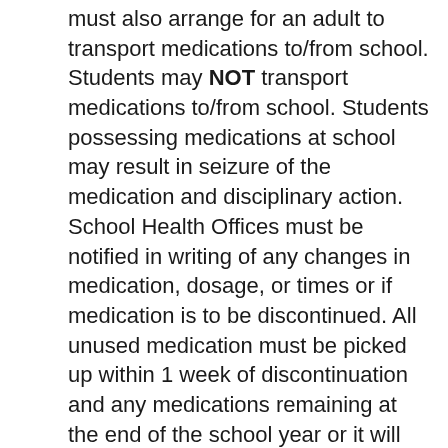must also arrange for an adult to transport medications to/from school. Students may NOT transport medications to/from school. Students possessing medications at school may result in seizure of the medication and disciplinary action. School Health Offices must be notified in writing of any changes in medication, dosage, or times or if medication is to be discontinued. All unused medication must be picked up within 1 week of discontinuation and any medications remaining at the end of the school year or it will be destroyed by school health personnel.
If your child's medical condition requires they keep an Albuterol Inhaler, Epinephrine Auto-Injector, Diabetes Medications/Supplies, or other “Life Saving” Medications with them at all times, PLEASE SEE SCHOOL HEALTH STAFF! It is recommended that any child